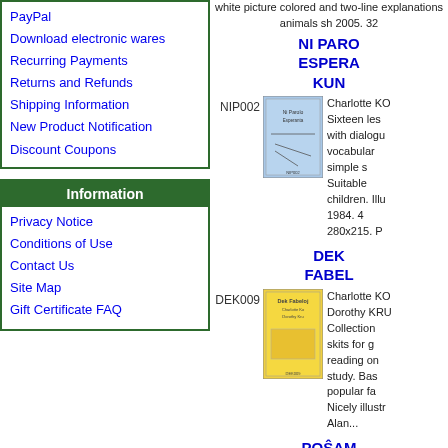PayPal
Download electronic wares
Recurring Payments
Returns and Refunds
Shipping Information
New Product Notification
Discount Coupons
Information
Privacy Notice
Conditions of Use
Contact Us
Site Map
Gift Certificate FAQ
white picture colored and two-line explanations animals sh 2005. 32
NI PARO ESPERA KUN
[Figure (photo): Book cover for NI PAROLO ESPERANTA / NIP002 - light blue cover]
NIP002 Charlotte KO Sixteen les with dialogu vocabular simple s Suitable children. Illu 1984. 4 280x215. P
DEK FABEL
[Figure (photo): Book cover for DEK FABELOJ / DEK009 - yellow cover]
DEK009 Charlotte KO Dorothy KRU Collection skits for g reading on study. Bas popular fa Nicely illustr Alan...
POŜAM (direct f UEA
[Figure (logo): Poŝaniko logo/image in orange and green]
The UEA